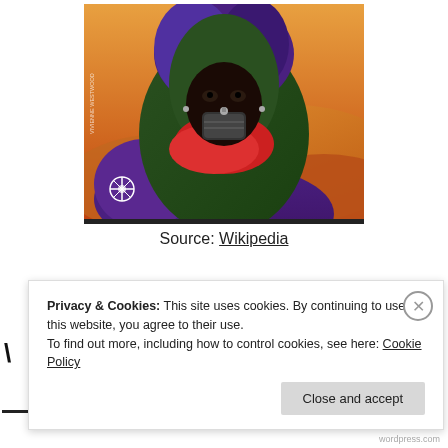[Figure (illustration): Album cover art showing a figure wearing a purple hooded garment and green headscarf with a red wrap and jeweled mask, set against an orange desert dune background. A small logo/emblem is visible in the lower left of the image.]
Source: Wikipedia
Privacy & Cookies: This site uses cookies. By continuing to use this website, you agree to their use.
To find out more, including how to control cookies, see here: Cookie Policy
Close and accept